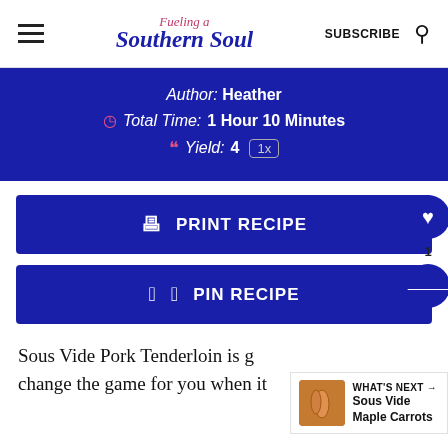Fueling a Southern Soul — SUBSCRIBE
Author: Heather
Total Time: 1 Hour 10 Minutes
Yield: 4  1x
PRINT RECIPE
PIN RECIPE
Sous Vide Pork Tenderloin is going to change the game for you when it
WHAT'S NEXT → Sous Vide Maple Carrots